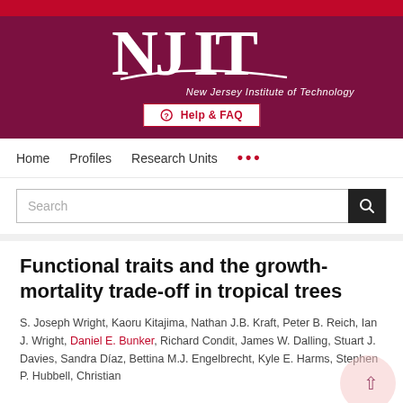[Figure (logo): NJIT New Jersey Institute of Technology logo with white letters on dark red/maroon background with swoosh, and Help & FAQ button]
Home   Profiles   Research Units   ...
Search
Functional traits and the growth-mortality trade-off in tropical trees
S. Joseph Wright, Kaoru Kitajima, Nathan J.B. Kraft, Peter B. Reich, Ian J. Wright, Daniel E. Bunker, Richard Condit, James W. Dalling, Stuart J. Davies, Sandra DíAz, Bettina M.J. Engelbrecht, Kyle E. Harms, Stephen P. Hubbell, Christian